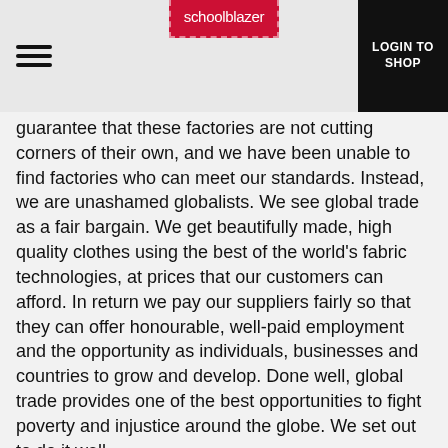schoolblazer | LOGIN TO SHOP
guarantee that these factories are not cutting corners of their own, and we have been unable to find factories who can meet our standards. Instead, we are unashamed globalists. We see global trade as a fair bargain. We get beautifully made, high quality clothes using the best of the world’s fabric technologies, at prices that our customers can afford. In return we pay our suppliers fairly so that they can offer honourable, well-paid employment and the opportunity as individuals, businesses and countries to grow and develop. Done well, global trade provides one of the best opportunities to fight poverty and injustice around the globe. We set out to do it well.
To achieve this, we believe in working with a small number of suppliers with whom we can build genuine commitment and trust. This